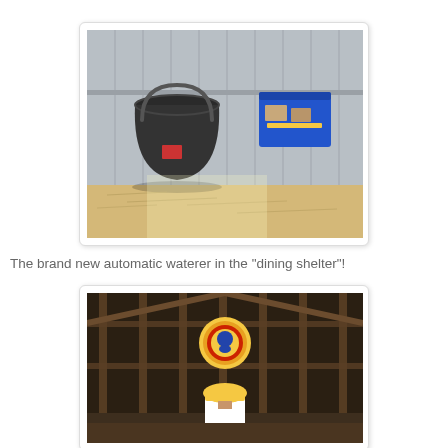[Figure (photo): A black rubber bucket/waterer mounted on a corrugated metal wall, and a blue plastic bin mounted to the right of it on the same wall, with dirt/straw floor below.]
The brand new automatic waterer in the "dining shelter"!
[Figure (photo): Interior of a barn/shelter showing wooden framing with dark insulation/felt, a circular logo/sign in the center of the wall, and a person from behind wearing a yellow hard hat and white shirt, viewed from above.]